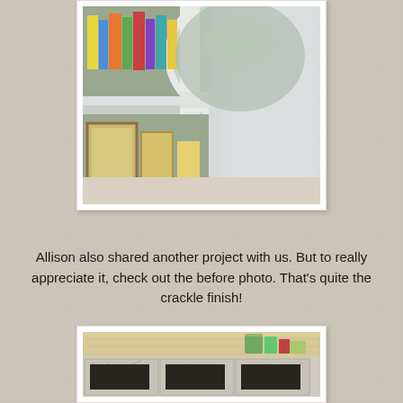[Figure (photo): Close-up photo of a white painted furniture piece (bookshelf/storage unit) with books and framed pictures visible behind it. White frame with mat.]
Allison also shared another project with us. But to really appreciate it, check out the before photo. That's quite the crackle finish!
[Figure (photo): Photo of a furniture piece (console table or bench) with a crackle paint finish before refinishing, with items on top. White frame with mat.]